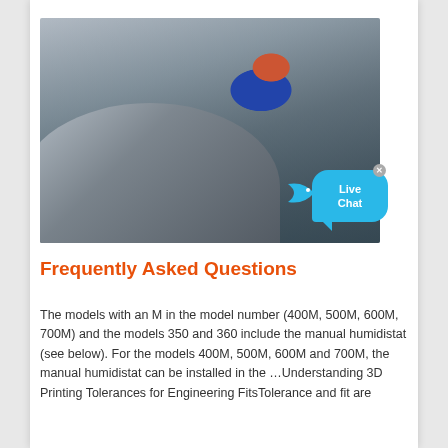[Figure (photo): A worker wearing a red hard hat and dark blue jacket inspects or measures a large curved metal component in an industrial/manufacturing facility.]
Frequently Asked Questions
The models with an M in the model number (400M, 500M, 600M, 700M) and the models 350 and 360 include the manual humidistat (see below). For the models 400M, 500M, 600M and 700M, the manual humidistat can be installed in the …Understanding 3D Printing Tolerances for Engineering FitsTolerance and fit are